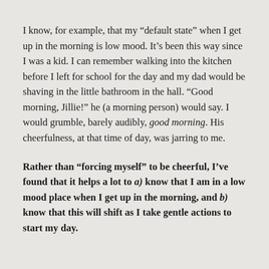I know, for example, that my “default state” when I get up in the morning is low mood. It’s been this way since I was a kid. I can remember walking into the kitchen before I left for school for the day and my dad would be shaving in the little bathroom in the hall. “Good morning, Jillie!” he (a morning person) would say. I would grumble, barely audibly, good morning. His cheerfulness, at that time of day, was jarring to me.
Rather than “forcing myself” to be cheerful, I’ve found that it helps a lot to a) know that I am in a low mood place when I get up in the morning, and b) know that this will shift as I take gentle actions to start my day.